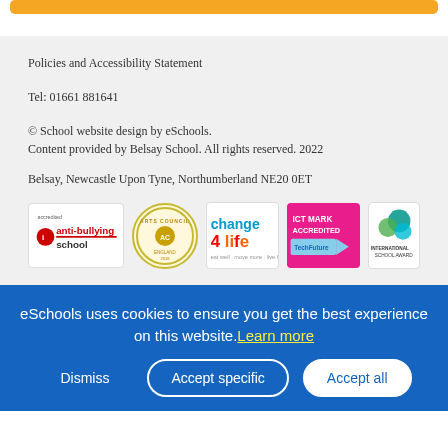Policies and Accessibility Statement
Tel: 01661 881641
© School website design by eSchools.
Content provided by Belsay School. All rights reserved. 2022
Belsay, Newcastle Upon Tyne, Northumberland NE20 0ET
[Figure (logo): Five accreditation logos: anti-bullying school, Arts Council, Change 4 Life, ICT Mark Accredited, International School Award]
eSchools uses cookies to ensure you get the best experience on this website. Learn more
Dismiss   Accept specific   Accept all